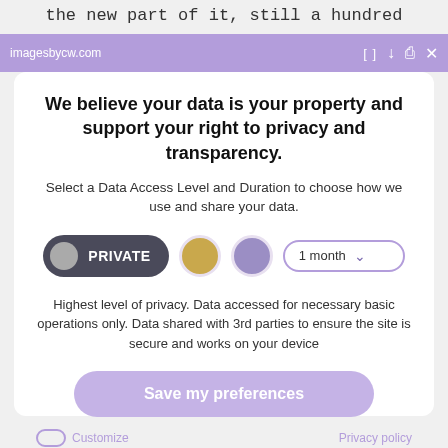the new part of it, still a hundred
[Figure (screenshot): Purple browser bar showing imagesbycw.com URL with expand, download, print, and close icons]
We believe your data is your property and support your right to privacy and transparency.
Select a Data Access Level and Duration to choose how we use and share your data.
[Figure (infographic): Privacy controls row: PRIVATE button (dark with gray circle), gold circle, purple circle, and 1 month dropdown]
Highest level of privacy. Data accessed for necessary basic operations only. Data shared with 3rd parties to ensure the site is secure and works on your device
Save my preferences
Customize
Privacy policy